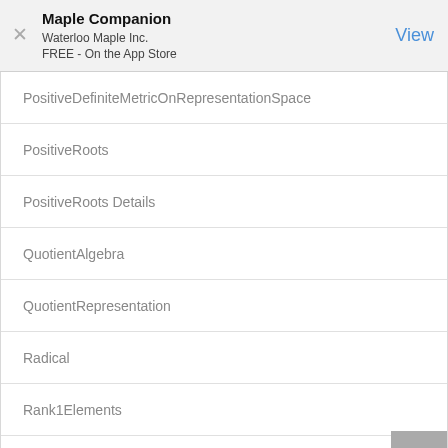Maple Companion
Waterloo Maple Inc.
FREE - On the App Store
PositiveDefiniteMetricOnRepresentationSpace
PositiveRoots
PositiveRoots Details
QuotientAlgebra
QuotientRepresentation
Radical
Rank1Elements
RelativeChains
Representation